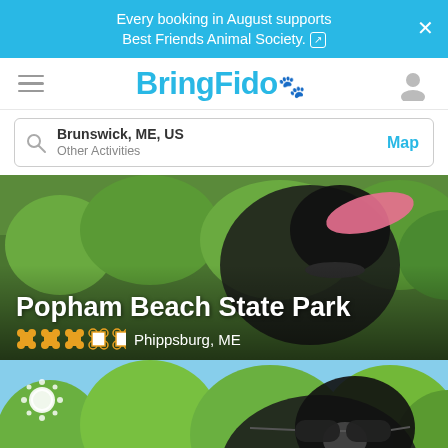Every booking in August supports Best Friends Animal Society.
[Figure (logo): BringFido logo with paw print icon]
Brunswick, ME, US
Other Activities
Map
[Figure (photo): Black dog catching a pink frisbee outdoors with green trees in background — Popham Beach State Park listing card]
Popham Beach State Park
Phippsburg, ME
[Figure (photo): Dog wearing sunglasses outdoors with blue sky and green trees — second listing card with weather/sun icon]